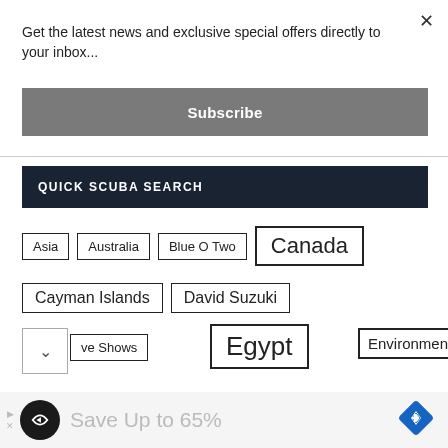Get the latest news and exclusive special offers directly to your inbox...
[Figure (screenshot): Subscribe button - grey rectangle with bold white text 'Subscribe']
QUICK SCUBA SEARCH
Asia
Australia
Blue O Two
Canada
Cayman Islands
David Suzuki
ve Shows
Egypt
Environment
[Figure (screenshot): Advertisement banner: dark circle icon with arrow logo, text 'Save Up to 65%', blue diamond navigation icon on right]